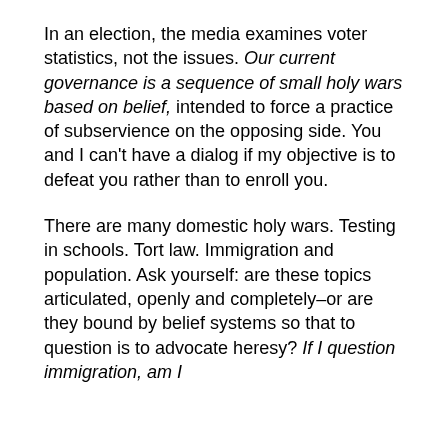In an election, the media examines voter statistics, not the issues. Our current governance is a sequence of small holy wars based on belief, intended to force a practice of subservience on the opposing side. You and I can't have a dialog if my objective is to defeat you rather than to enroll you.
There are many domestic holy wars. Testing in schools. Tort law. Immigration and population. Ask yourself: are these topics articulated, openly and completely–or are they bound by belief systems so that to question is to advocate heresy? If I question immigration, am I